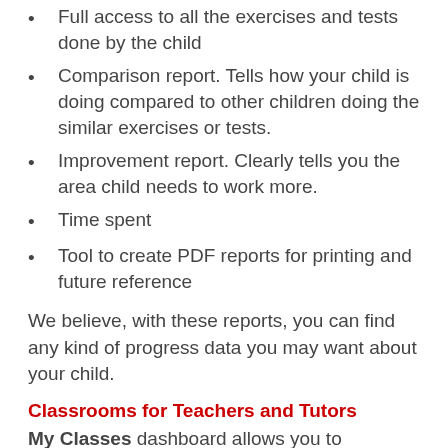Full access to all the exercises and tests done by the child
Comparison report. Tells how your child is doing compared to other children doing the similar exercises or tests.
Improvement report. Clearly tells you the area child needs to work more.
Time spent
Tool to create PDF reports for printing and future reference
We believe, with these reports, you can find any kind of progress data you may want about your child.
Classrooms for Teachers and Tutors
My Classes dashboard allows you to conveniently organize all of your students in different classes. This feature not only helps you save time, it also helps you create